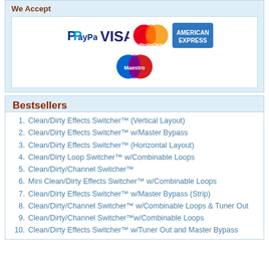We Accept
[Figure (logo): Payment method logos: PayPal, VISA, MasterCard, American Express, Maestro]
Bestsellers
1. Clean/Dirty Effects Switcher™ (Vertical Layout)
2. Clean/Dirty Effects Switcher™ w/Master Bypass
3. Clean/Dirty Effects Switcher™ (Horizontal Layout)
4. Clean/Dirty Loop Switcher™ w/Combinable Loops
5. Clean/Dirty/Channel Switcher™
6. Mini Clean/Dirty Effects Switcher™ w/Combinable Loops
7. Clean/Dirty Effects Switcher™ w/Master Bypass (Strip)
8. Clean/Dirty/Channel Switcher™ w/Combinable Loops & Tuner Out
9. Clean/Dirty/Channel Switcher™w/Combinable Loops
10. Clean/Dirty Effects Switcher™ w/Tuner Out and Master Bypass